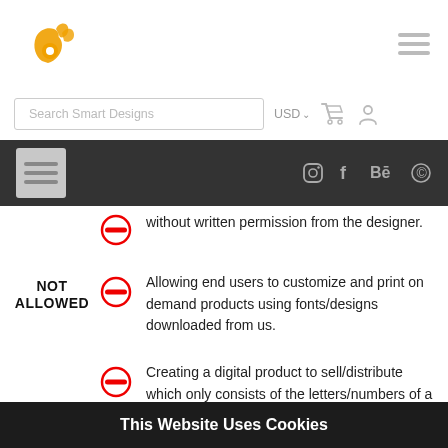[Figure (logo): Orange stylized hand OK gesture logo]
[Figure (other): Hamburger menu icon top right]
Search Smart Designs
USD ∨
[Figure (other): Shopping cart icon]
[Figure (other): User account icon]
[Figure (other): Dark nav bar with hamburger menu box and social icons: Instagram, Facebook, Behance, Pinterest]
without written permission from the designer.
Allowing end users to customize and print on demand products using fonts/designs downloaded from us.
Creating a digital product to sell/distribute which only consists of the letters/numbers of a font, or a design element downloaded/purchased from
NOT ALLOWED
This Website Uses Cookies